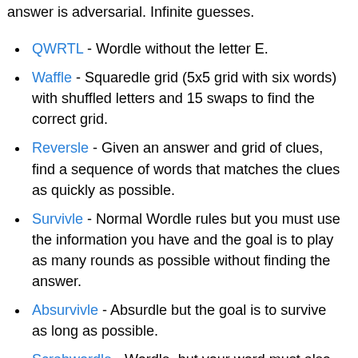answer is adversarial. Infinite guesses.
QWRTL - Wordle without the letter E.
Waffle - Squaredle grid (5x5 grid with six words) with shuffled letters and 15 swaps to find the correct grid.
Reversle - Given an answer and grid of clues, find a sequence of words that matches the clues as quickly as possible.
Survivle - Normal Wordle rules but you must use the information you have and the goal is to play as many rounds as possible without finding the answer.
Absurvivle - Absurdle but the goal is to survive as long as possible.
Scrabwordle - Wordle, but your word must also match a given Scrabble score.
xordle - Wordle with two disjoint answers but